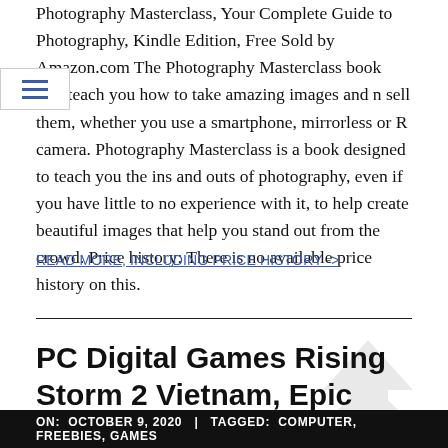Photography Masterclass, Your Complete Guide to Photography, Kindle Edition, Free Sold by Amazon.com The Photography Masterclass book will teach you how to take amazing images and n sell them, whether you use a smartphone, mirrorless or R camera. Photography Masterclass is a book designed to teach you the ins and outs of photography, even if you have little to no experience with it, to help create beautiful images that help you stand out from the crowd. Price history: There is no available price history on this.
READ MORE, INCLUDING PRICE HISTORY ->
PC Digital Games Rising Storm 2 Vietnam, Epic Games FREE
ON: OCTOBER 9, 2020  |  TAGGED: COMPUTER, FREEBIES, GAMES